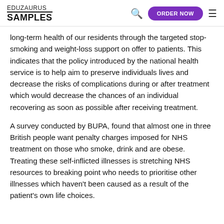EDUZAURUS SAMPLES
long-term health of our residents through the targeted stop-smoking and weight-loss support on offer to patients. This indicates that the policy introduced by the national health service is to help aim to preserve individuals lives and decrease the risks of complications during or after treatment which would decrease the chances of an individual recovering as soon as possible after receiving treatment.
A survey conducted by BUPA, found that almost one in three British people want penalty charges imposed for NHS treatment on those who smoke, drink and are obese. Treating these self-inflicted illnesses is stretching NHS resources to breaking point who needs to prioritise other illnesses which haven't been caused as a result of the patient's own life choices.